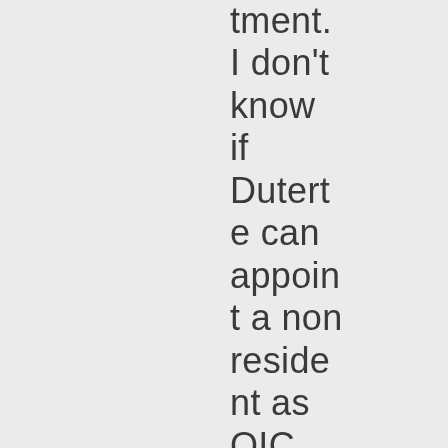tment. I don't know if Duterte can appoint a nonresident as OIC as Chemrock is implying,